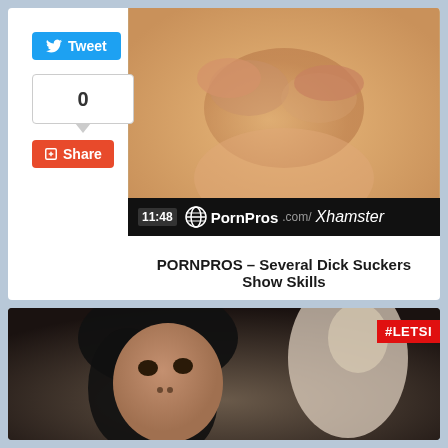[Figure (photo): Video thumbnail showing a massage scene with hands on oiled skin, with PornPros.com/Xhamster branding bar at bottom showing timestamp 11:48]
PORNPROS – Several Dick Suckers Show Skills
[Figure (photo): Video thumbnail showing a dark-haired woman looking up, with #LETSI badge in top right corner]
[Figure (other): Twitter Tweet button and Share button social widgets on left sidebar]